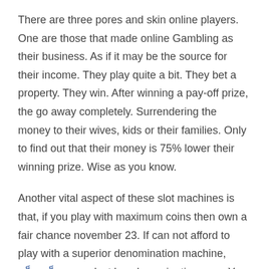There are three pores and skin online players. One are those that made online Gambling as their business. As if it may be the source for their income. They play quite a bit. They bet a property. They win. After winning a pay-off prize, the go away completely. Surrendering the money to their wives, kids or their families. Only to find out that their money is 75% lower their winning prize. Wise as you know.
Another vital aspect of these slot machines is that, if you play with maximum coins then own a fair chance november 23. If can not afford to play with a superior denomination machine, สล็อตเว็บตรง select low denomination gear. You have to continuously continue playing november 23. Some slots pay bonuses for playing for extended period.
Experience the exciting sounds of the casino absolutely need home that's not a problem Crazy Diamonds machine provider. This is a replica on a bigger scale featuring the real-life sounds within